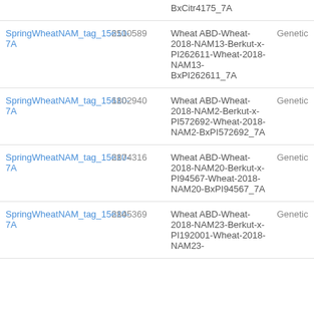| SpringWheatNAM_tag_15610-7A | 2510589 | Wheat ABD-Wheat-2018-NAM13-Berkut-x-PI262611-Wheat-2018-NAM13-BxPI262611_7A | Genetic |
| SpringWheatNAM_tag_15610-7A | 1802940 | Wheat ABD-Wheat-2018-NAM2-Berkut-x-PI572692-Wheat-2018-NAM2-BxPI572692_7A | Genetic |
| SpringWheatNAM_tag_15610-7A | 2874316 | Wheat ABD-Wheat-2018-NAM20-Berkut-x-PI94567-Wheat-2018-NAM20-BxPI94567_7A | Genetic |
| SpringWheatNAM_tag_15610-7A | 2845369 | Wheat ABD-Wheat-2018-NAM23-Berkut-x-PI192001-Wheat-2018-NAM23- | Genetic |